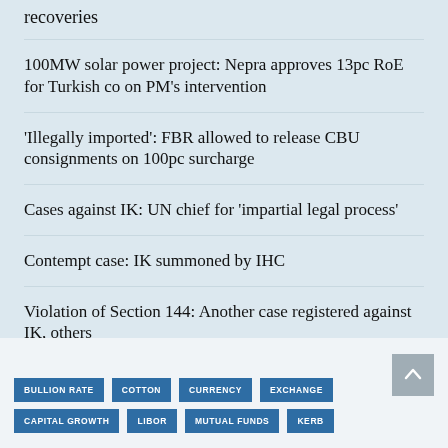recoveries
100MW solar power project: Nepra approves 13pc RoE for Turkish co on PM’s intervention
‘Illegally imported’: FBR allowed to release CBU consignments on 100pc surcharge
Cases against IK: UN chief for ‘impartial legal process’
Contempt case: IK summoned by IHC
Violation of Section 144: Another case registered against IK, others
READ MORE STORIES
BULLION RATE   COTTON   CURRENCY   EXCHANGE   CAPITAL GROWTH   LIBOR   MUTUAL FUNDS   KERB